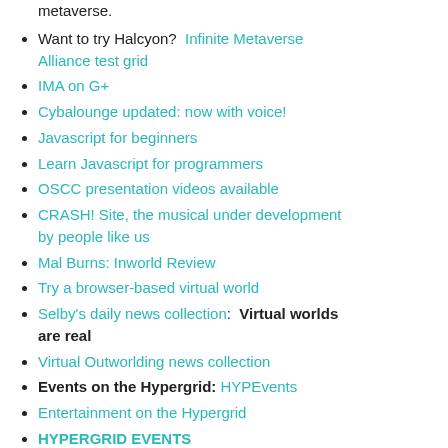metaverse.
Want to try Halcyon?  Infinite Metaverse Alliance test grid
IMA on G+
Cybalounge updated: now with voice!
Javascript for beginners
Learn Javascript for programmers
OSCC presentation videos available
CRASH! Site, the musical under development by people like us
Mal Burns: Inworld Review
Try a browser-based virtual world
Selby's daily news collection:  Virtual worlds are real
Virtual Outworlding news collection
Events on the Hypergrid: HYPEvents
Entertainment on the Hypergrid
HYPERGRID EVENTS